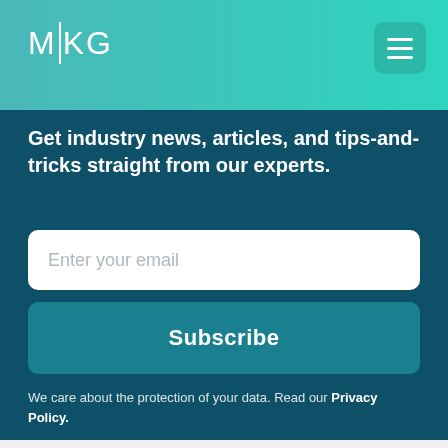MKG
Get industry news, articles, and tips-and-tricks straight from our experts.
Enter your email
Subscribe
We care about the protection of your data. Read our Privacy Policy.
SERVICES
WHY US